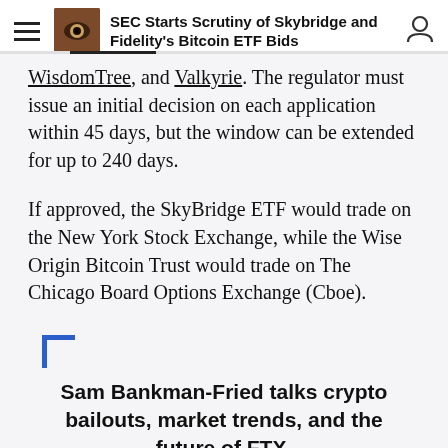SEC Starts Scrutiny of Skybridge and Fidelity's Bitcoin ETF Bids
WisdomTree, and Valkyrie. The regulator must issue an initial decision on each application within 45 days, but the window can be extended for up to 240 days.
If approved, the SkyBridge ETF would trade on the New York Stock Exchange, while the Wise Origin Bitcoin Trust would trade on The Chicago Board Options Exchange (Cboe).
Sam Bankman-Fried talks crypto bailouts, market trends, and the future of FTX.